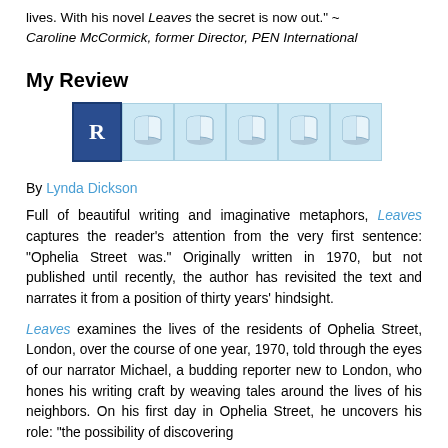lives. With his novel Leaves the secret is now out." ~ Caroline McCormick, former Director, PEN International
My Review
[Figure (other): Rating widget showing a dark blue box with letter R followed by five book icons on light blue background]
By Lynda Dickson
Full of beautiful writing and imaginative metaphors, Leaves captures the reader's attention from the very first sentence: "Ophelia Street was." Originally written in 1970, but not published until recently, the author has revisited the text and narrates it from a position of thirty years' hindsight.
Leaves examines the lives of the residents of Ophelia Street, London, over the course of one year, 1970, told through the eyes of our narrator Michael, a budding reporter new to London, who hones his writing craft by weaving tales around the lives of his neighbors. On his first day in Ophelia Street, he uncovers his role: "the possibility of discovering